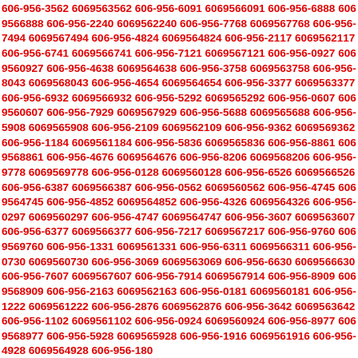606-956-3562 6069563562 606-956-6091 6069566091 606-956-6888 6069566888 606-956-2240 6069562240 606-956-7768 6069567768 606-956-7494 6069567494 606-956-4824 6069564824 606-956-2117 6069562117 606-956-6741 6069566741 606-956-7121 6069567121 606-956-0927 6069560927 606-956-4638 6069564638 606-956-3758 6069563758 606-956-8043 6069568043 606-956-4654 6069564654 606-956-3377 6069563377 606-956-6932 6069566932 606-956-5292 6069565292 606-956-0607 6069560607 606-956-7929 6069567929 606-956-5688 6069565688 606-956-5908 6069565908 606-956-2109 6069562109 606-956-9362 6069569362 606-956-1184 6069561184 606-956-5836 6069565836 606-956-8861 6069568861 606-956-4676 6069564676 606-956-8206 6069568206 606-956-9778 6069569778 606-956-0128 6069560128 606-956-6526 6069566526 606-956-6387 6069566387 606-956-0562 6069560562 606-956-4745 6069564745 606-956-4852 6069564852 606-956-4326 6069564326 606-956-0297 6069560297 606-956-4747 6069564747 606-956-3607 6069563607 606-956-6377 6069566377 606-956-7217 6069567217 606-956-9760 6069569760 606-956-1331 6069561331 606-956-6311 6069566311 606-956-0730 6069560730 606-956-3069 6069563069 606-956-6630 6069566630 606-956-7607 6069567607 606-956-7914 6069567914 606-956-8909 6069568909 606-956-2163 6069562163 606-956-0181 6069560181 606-956-1222 6069561222 606-956-2876 6069562876 606-956-3642 6069563642 606-956-1102 6069561102 606-956-0924 6069560924 606-956-8977 6069568977 606-956-5928 6069565928 606-956-1916 6069561916 606-956-4928 6069564928 606-956-180